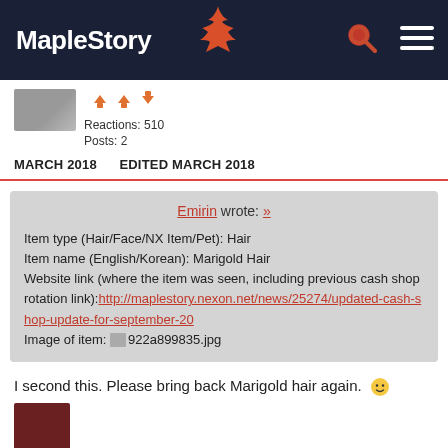MapleStory
Reactions: 510
Posts: 2
MARCH 2018   EDITED MARCH 2018
Emirin wrote: »
Item type (Hair/Face/NX Item/Pet): Hair
Item name (English/Korean): Marigold Hair
Website link (where the item was seen, including previous cash shop rotation link):http://maplestory.nexon.net/news/25274/updated-cash-shop-update-for-september-20
Image of item: 922a899835.jpg
I second this. Please bring back Marigold hair again. 🙂